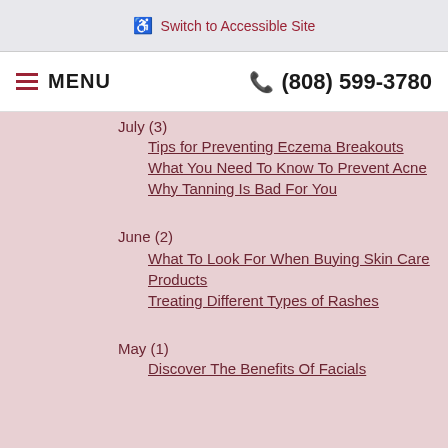♿ Switch to Accessible Site
☰ MENU   ☎ (808) 599-3780
July (3)
Tips for Preventing Eczema Breakouts
What You Need To Know To Prevent Acne
Why Tanning Is Bad For You
June (2)
What To Look For When Buying Skin Care Products
Treating Different Types of Rashes
May (1)
Discover The Benefits Of Facials